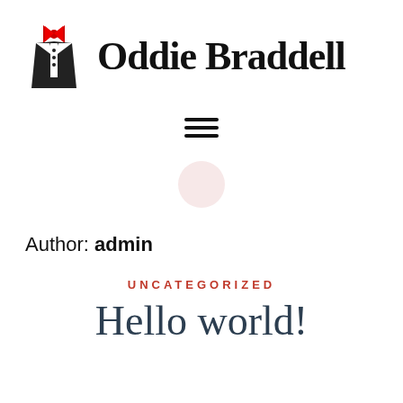[Figure (logo): Oddie Braddell logo with tuxedo/bowtie icon and bold serif text]
[Figure (other): Hamburger menu icon with three horizontal lines]
[Figure (other): Small circular avatar/profile placeholder in light pink]
Author: admin
UNCATEGORIZED
Hello world!